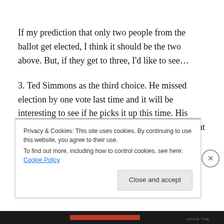If my prediction that only two people from the ballot get elected, I think it should be the two above. But, if they get to three, I'd like to see…
3. Ted Simmons as the third choice. He missed election by one vote last time and it will be interesting to see if he picks it up this time. His numbers are fine, especially for someone who spent most of his time as a catcher. But his end of career time as a journeyman who played a lot of
Privacy & Cookies: This site uses cookies. By continuing to use this website, you agree to their use.
To find out more, including how to control cookies, see here: Cookie Policy
Close and accept